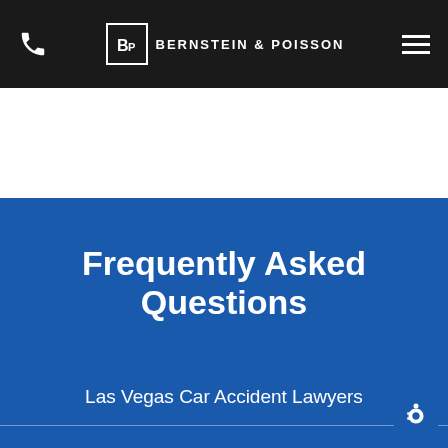Bernstein & Poisson
Frequently Asked Questions
Las Vegas Car Accident Lawyers
Las Vegas Casino Injury Lawyer